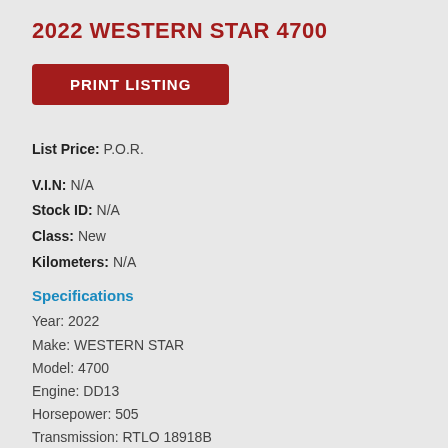2022 WESTERN STAR 4700
PRINT LISTING
List Price: P.O.R.
V.I.N: N/A
Stock ID: N/A
Class: New
Kilometers: N/A
Specifications
Year: 2022
Make: WESTERN STAR
Model: 4700
Engine: DD13
Horsepower: 505
Transmission: RTLO 18918B
Fuel Type: DIESEL